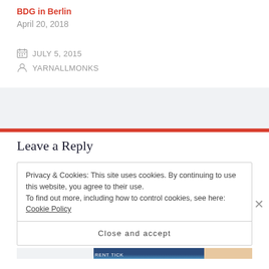BDG in Berlin
April 20, 2018
JULY 5, 2015
YARNALLMONKS
Leave a Reply
Privacy & Cookies: This site uses cookies. By continuing to use this website, you agree to their use.
To find out more, including how to control cookies, see here: Cookie Policy
Close and accept